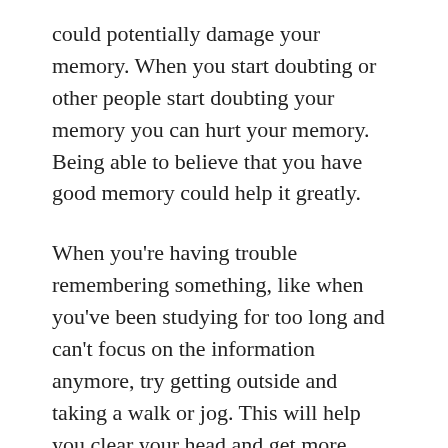could potentially damage your memory. When you start doubting or other people start doubting your memory you can hurt your memory. Being able to believe that you have good memory could help it greatly.
When you're having trouble remembering something, like when you've been studying for too long and can't focus on the information anymore, try getting outside and taking a walk or jog. This will help you clear your head and get more oxygen pumping to your brain, thus letting your brain work at a higher capacity.
Pay attention to your surroundings and live in